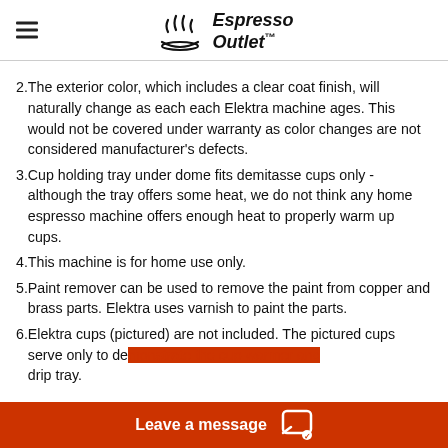Espresso Outlet™
2. The exterior color, which includes a clear coat finish, will naturally change as each each Elektra machine ages. This would not be covered under warranty as color changes are not considered manufacturer's defects.
3. Cup holding tray under dome fits demitasse cups only - although the tray offers some heat, we do not think any home espresso machine offers enough heat to properly warm up cups.
4. This machine is for home use only.
5. Paint remover can be used to remove the paint from copper and brass parts. Elektra uses varnish to paint the parts.
6. Elektra cups (pictured) are not included. The pictured cups serve only to demonstrate the cup warmer and drip tray.